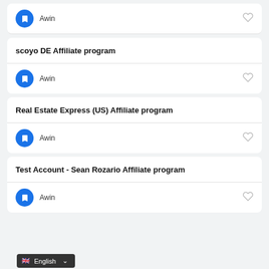scoyo DE Affiliate program
Awin
Real Estate Express (US) Affiliate program
Awin
Test Account - Sean Rozario Affiliate program
Awin
English